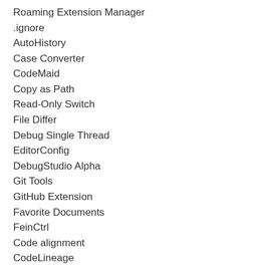Roaming Extension Manager
.ignore
AutoHistory
Case Converter
CodeMaid
Copy as Path
Read-Only Switch
File Differ
Debug Single Thread
EditorConfig
DebugStudio Alpha
Git Tools
GitHub Extension
Favorite Documents
FeinCtrl
Code alignment
CodeLineage
GitHub Extension for Visual Studio